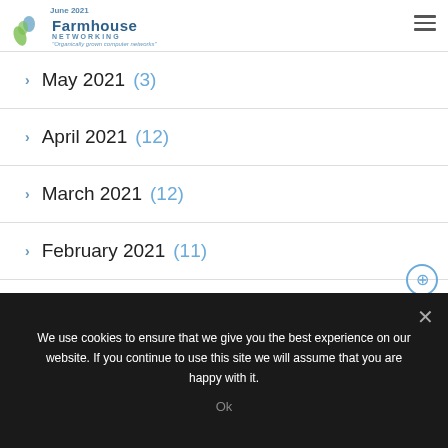Farmhouse Networking — Organically grown computer networks — June 2021
May 2021 (3)
April 2021 (12)
March 2021 (12)
February 2021 (11)
January 2021 (11)
December 2020 (12)
We use cookies to ensure that we give you the best experience on our website. If you continue to use this site we will assume that you are happy with it.
Ok